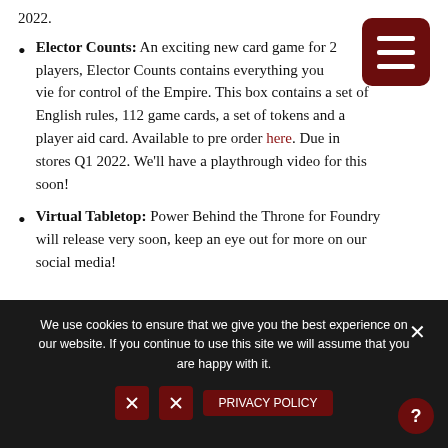2022.
Elector Counts: An exciting new card game for 2 players, Elector Counts contains everything you vie for control of the Empire. This box contains a set of English rules, 112 game cards, a set of tokens and a player aid card. Available to pre order here. Due in stores Q1 2022. We'll have a playthrough video for this soon!
Virtual Tabletop: Power Behind the Throne for Foundry will release very soon, keep an eye out for more on our social media!
We use cookies to ensure that we give you the best experience on our website. If you continue to use this site we will assume that you are happy with it.